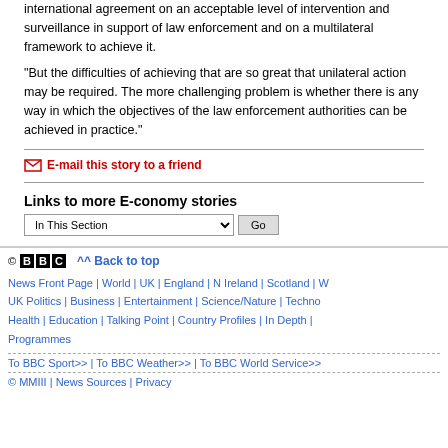international agreement on an acceptable level of intervention and surveillance in support of law enforcement and on a multilateral framework to achieve it.
"But the difficulties of achieving that are so great that unilateral action may be required. The more challenging problem is whether there is any way in which the objectives of the law enforcement authorities can be achieved in practice."
E-mail this story to a friend
Links to more E-conomy stories
In This Section | Go
© BBC | ^^ Back to top | News Front Page | World | UK | England | N Ireland | Scotland | W... | UK Politics | Business | Entertainment | Science/Nature | Techno... | Health | Education | Talking Point | Country Profiles | In Depth | ... | Programmes | To BBC Sport>> | To BBC Weather>> | To BBC World Service>> | © MMIII | News Sources | Privacy